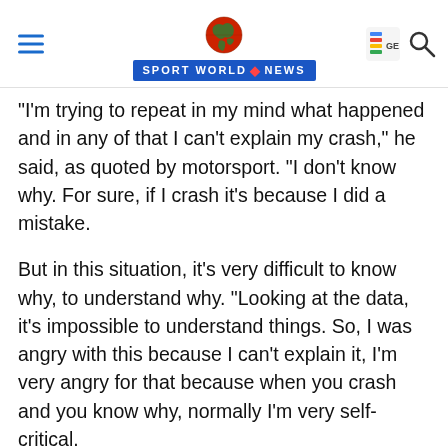Sport World News
"I'm trying to repeat in my mind what happened and in any of that I can't explain my crash," he said, as quoted by motorsport. "I don't know why. For sure, if I crash it's because I did a mistake.
But in this situation, it's very difficult to know why, to understand why. "Looking at the data, it's impossible to understand things. So, I was angry with this because I can't explain it, I'm very angry for that because when you crash and you know why, normally I'm very self-critical.
"But today I can't because the reason why I crashed is something that I can't explain. So, it's